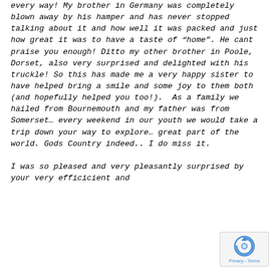every way! My brother in Germany was completely blown away by his hamper and has never stopped talking about it and how well it was packed and just how great it was to have a taste of “home”. He cant praise you enough! Ditto my other brother in Poole, Dorset, also very surprised and delighted with his truckle! So this has made me a very happy sister to have helped bring a smile and some joy to them both (and hopefully helped you too!).  As a family we hailed from Bournemouth and my father was from Somerset… every weekend in our youth we would take a trip down your way to explore… great part of the world. Gods Country indeed.. I do miss it.

I was so pleased and very pleasantly surprised by your very efficicient and
[Figure (other): reCAPTCHA badge with circular arrow icon and Privacy - Terms text]